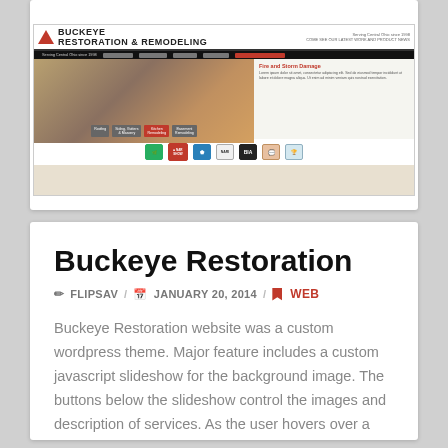[Figure (screenshot): Screenshot of Buckeye Restoration website showing custom WordPress theme with logo, navigation bar, background image slideshow, service buttons (Roofing, Siding/Gutters/Masonry, Kitchen Remodeling, Basement Remodeling), and Fire and Storm Damage description panel, plus partner/certification logos at bottom]
Buckeye Restoration
FLIPSAV  /  JANUARY 20, 2014  /  WEB
Buckeye Restoration website was a custom wordpress theme. Major feature includes a custom javascript slideshow for the background image. The buttons below the slideshow control the images and description of services. As the user hovers over a button the image will  as well changing the image and description of the service.